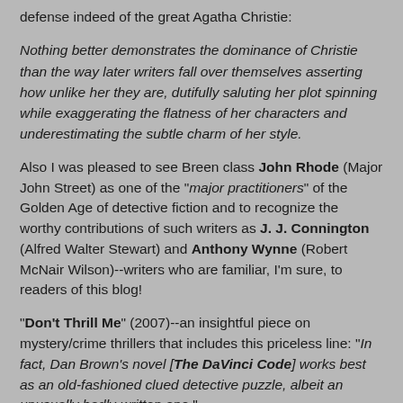defense indeed of the great Agatha Christie:
Nothing better demonstrates the dominance of Christie than the way later writers fall over themselves asserting how unlike her they are, dutifully saluting her plot spinning while exaggerating the flatness of her characters and underestimating the subtle charm of her style.
Also I was pleased to see Breen class John Rhode (Major John Street) as one of the "major practitioners" of the Golden Age of detective fiction and to recognize the worthy contributions of such writers as J. J. Connington (Alfred Walter Stewart) and Anthony Wynne (Robert McNair Wilson)--writers who are familiar, I'm sure, to readers of this blog!
"Don't Thrill Me" (2007)--an insightful piece on mystery/crime thrillers that includes this priceless line: "In fact, Dan Brown's novel [The DaVinci Code] works best as an old-fashioned clued detective puzzle, albeit an unusually badly-written one."